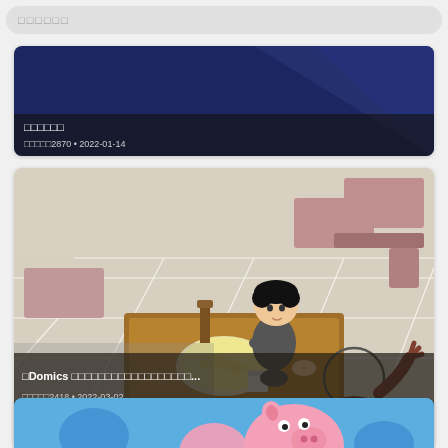[Figure (screenshot): Search bar UI element at top of screen]
[Figure (screenshot): Video thumbnail card 1: dark blue background with triangle shape, text overlay showing title and metadata 日本語2870 2022-01-14]
[Figure (illustration): Video thumbnail card 2: Domics animation, cafeteria scene with boy sitting at table with food, another figure in foreground. Text overlay: Domics [Japanese characters]... 日本語2418 2022-03-02]
[Figure (screenshot): Partial video thumbnail card 3: blue background with Peppa Pig character visible at bottom of page]